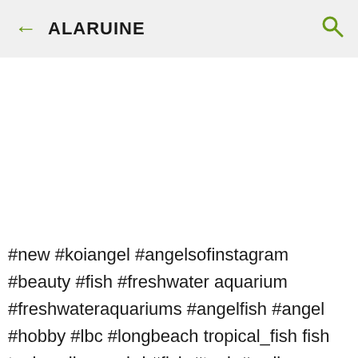← ALARUINE 🔍
#new #koiangel #angelsofinstagram #beauty #fish #freshwater aquarium #freshwateraquariums #angelfish #angel #hobby #lbc #longbeach tropical_fish fish tank wallpaper hd #fish #tank #wallpaper #hd #Fish #FishTank #TropicalFish #Fishing